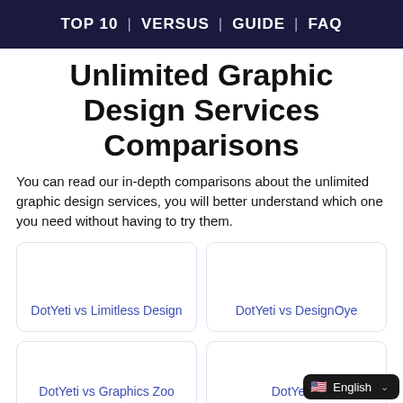TOP 10 | VERSUS | GUIDE | FAQ
Unlimited Graphic Design Services Comparisons
You can read our in-depth comparisons about the unlimited graphic design services, you will better understand which one you need without having to try them.
DotYeti vs Limitless Design
DotYeti vs DesignOye
DotYeti vs Graphics Zoo
DotYeti v...